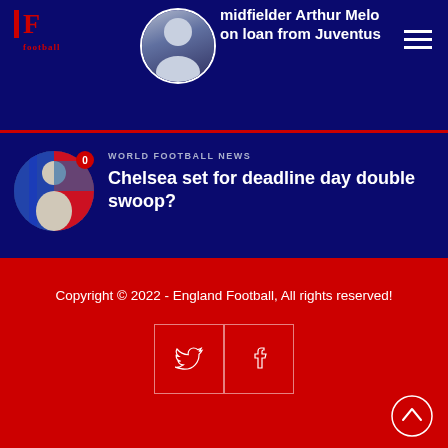midfielder Arthur Melo on loan from Juventus
football
WORLD FOOTBALL NEWS
Chelsea set for deadline day double swoop?
Copyright © 2022 - England Football, All rights reserved!